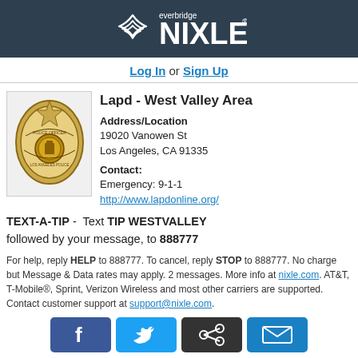[Figure (logo): Everbridge NIXLE logo on dark teal background with wave/mountain symbol]
Log In or Sign Up
[Figure (photo): LAPD Police Officer badge]
Lapd - West Valley Area
Address/Location
19020 Vanowen St
Los Angeles, CA 91335
Contact:
Emergency: 9-1-1
http://www.lapdonline.org/
TEXT-A-TIP - Text TIP WESTVALLEY followed by your message, to 888777
For help, reply HELP to 888777. To cancel, reply STOP to 888777. No charge but Message & Data rates may apply. 2 messages. More info at nixle.com. AT&T, T-Mobile®, Sprint, Verizon Wireless and most other carriers are supported. Contact customer support at support@nixle.com.
[Figure (infographic): Social media share buttons: Facebook, Twitter, share, email]